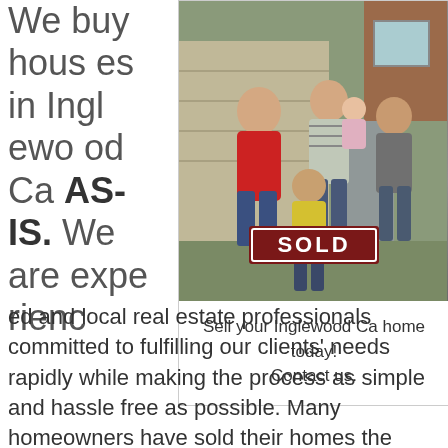We buy houses in Inglewood Ca AS-IS. We are experienced and local real estate professionals committed to fulfilling our clients' needs rapidly while making the process as simple and hassle free as possible. Many homeowners have sold their homes the easy...
[Figure (photo): A family of five standing in front of a house, with a child holding a dark red SOLD sign. The family includes a man in a red shirt, a woman holding a baby, and two children.]
Sell your Inglewood Ca home today! Contact us.